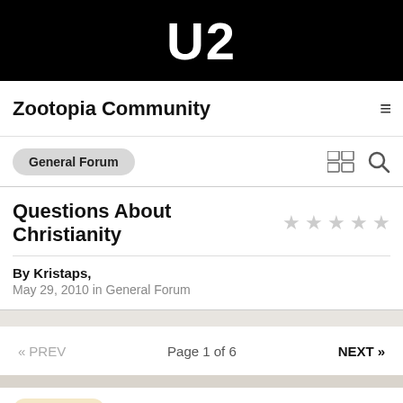U2
Zootopia Community
General Forum
Questions About Christianity
By Kristaps,
May 29, 2010 in General Forum
« PREV   Page 1 of 6   NEXT »
Subscriber